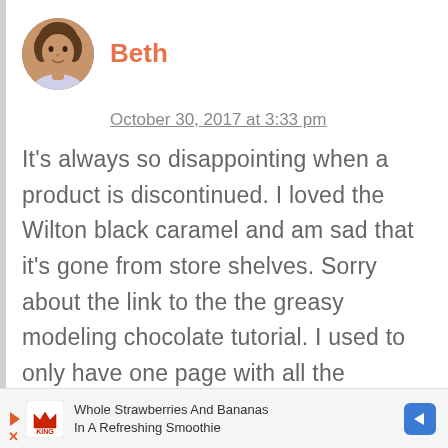[Figure (photo): Circular avatar photo of a woman named Beth with curly brown hair]
Beth
October 30, 2017 at 3:33 pm
It's always so disappointing when a product is discontinued. I loved the Wilton black caramel and am sad that it's gone from store shelves. Sorry about the link to the the greasy modeling chocolate tutorial. I used to only have one page with all the information about chocolate and
[Figure (infographic): Advertisement banner for Smoothie King: Whole Strawberries And Bananas In A Refreshing Smoothie]